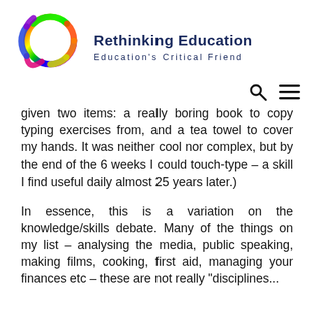[Figure (logo): Rethinking Education logo: rainbow-colored circular swirl on white background]
Rethinking Education
Education's Critical Friend
given two items: a really boring book to copy typing exercises from, and a tea towel to cover my hands. It was neither cool nor complex, but by the end of the 6 weeks I could touch-type – a skill I find useful daily almost 25 years later.)
In essence, this is a variation on the knowledge/skills debate. Many of the things on my list – analysing the media, public speaking, making films, cooking, first aid, managing your finances etc – these are not really "disciplines...